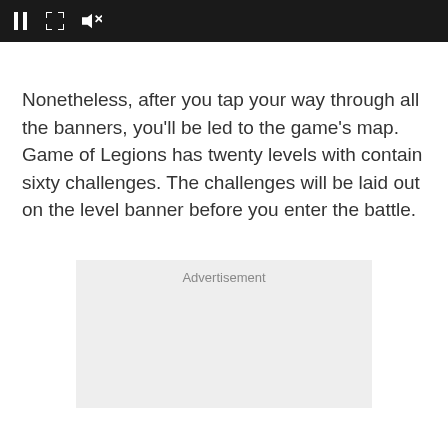[Figure (screenshot): Video player toolbar with pause, expand, and mute icons on a dark background]
Nonetheless, after you tap your way through all the banners, you'll be led to the game's map. Game of Legions has twenty levels with contain sixty challenges. The challenges will be laid out on the level banner before you enter the battle.
Advertisement